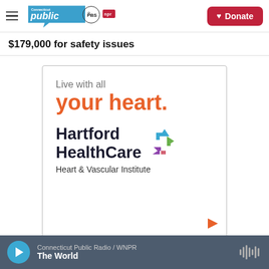Connecticut Public / PBS / NPR — Donate
$179,000 for safety issues
[Figure (illustration): Hartford HealthCare Heart & Vascular Institute advertisement. Text reads: 'Live with all your heart.' with Hartford HealthCare logo and recycling-style arrows icon. Play button in bottom right corner.]
Connecticut Public Radio / WNPR — The World